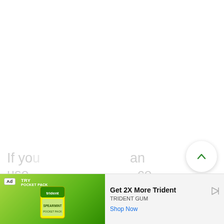[Figure (screenshot): White blank content area with floating UI buttons on the right side: an up-arrow button, a heart/favorite button, and a green search button. Background faded text visible near the bottom.]
[Figure (infographic): Advertisement banner for Trident Gum Pocket Pack at the bottom of the screen. Shows green branded image on left with Trident pack, and on right: 'Get 2X More Trident', 'TRIDENT GUM', 'Shop Now' link, and a play icon. Tagged with 'Ad' label.]